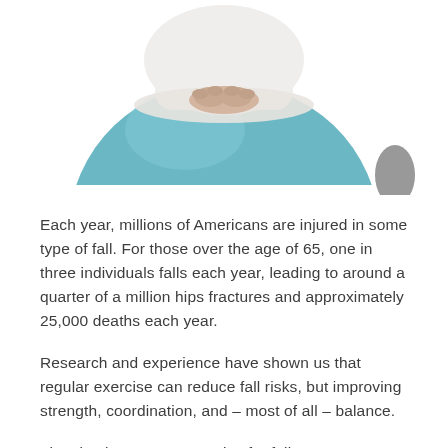[Figure (photo): A person leaning over a large teal/blue exercise ball, hands clasped on top, upper body and ball visible, white background.]
Each year, millions of Americans are injured in some type of fall. For those over the age of 65, one in three individuals falls each year, leading to around a quarter of a million hips fractures and approximately 25,000 deaths each year.
Research and experience have shown us that regular exercise can reduce fall risks, but improving strength, coordination, and – most of all – balance.
The simplest way to exercise for fall